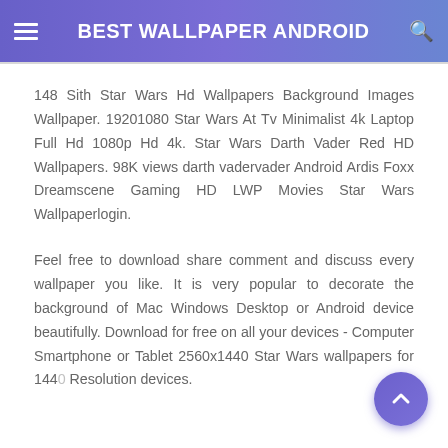BEST WALLPAPER ANDROID
148 Sith Star Wars Hd Wallpapers Background Images Wallpaper. 19201080 Star Wars At Tv Minimalist 4k Laptop Full Hd 1080p Hd 4k. Star Wars Darth Vader Red HD Wallpapers. 98K views darth vadervader Android Ardis Foxx Dreamscene Gaming HD LWP Movies Star Wars Wallpaperlogin.
Feel free to download share comment and discuss every wallpaper you like. It is very popular to decorate the background of Mac Windows Desktop or Android device beautifully. Download for free on all your devices - Computer Smartphone or Tablet 2560x1440 Star Wars wallpapers for 1440 Resolution devices.